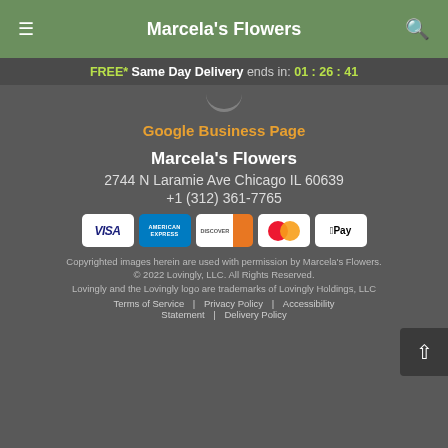Marcela's Flowers
FREE* Same Day Delivery ends in: 01:26:41
Google Business Page
Marcela's Flowers
2744 N Laramie Ave Chicago IL 60639
+1 (312) 361-7765
[Figure (other): Payment method icons: VISA, American Express, Discover, Mastercard, Apple Pay]
Copyrighted images herein are used with permission by Marcela's Flowers. © 2022 Lovingly, LLC. All Rights Reserved. Lovingly and the Lovingly logo are trademarks of Lovingly Holdings, LLC
Terms of Service | Privacy Policy | Accessibility Statement | Delivery Policy